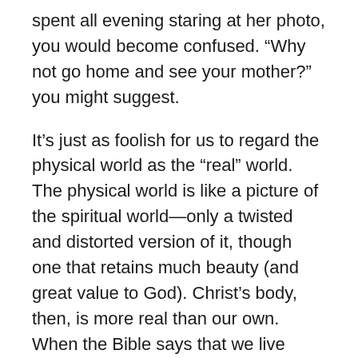spent all evening staring at her photo, you would become confused. “Why not go home and see your mother?” you might suggest.
It’s just as foolish for us to regard the physical world as the “real” world. The physical world is like a picture of the spiritual world—only a twisted and distorted version of it, though one that retains much beauty (and great value to God). Christ’s body, then, is more real than our own. When the Bible says that we live inside of Christ’s body, it is not a metaphor—it is reality. It is the realest place we live—or don’t.
When do we come to live in Christ’s body? When we believe and are baptized. It is then that we die to sin and become incorporated into Christ. Our branch is attached to his vine. We live inside of him, and death cannot change